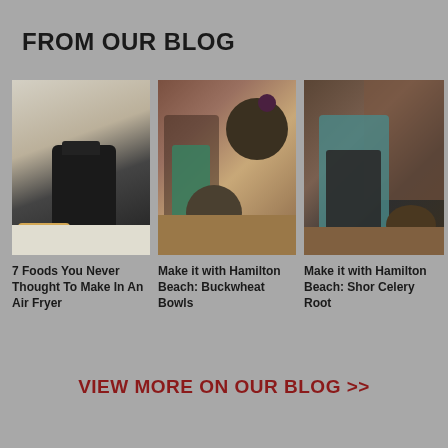FROM OUR BLOG
[Figure (photo): Photo of an air fryer on a white kitchen counter with cooked food on a plate beside it]
7 Foods You Never Thought To Make In An Air Fryer
[Figure (photo): Two women in a kitchen with bowls of buckwheat food on a wooden cutting board]
Make it with Hamilton Beach: Buckwheat Bowls
[Figure (photo): Man in apron standing in a kitchen, partially visible on the right edge]
Make it with Hamilton Beach: Shor Celery Root
VIEW MORE ON OUR BLOG >>